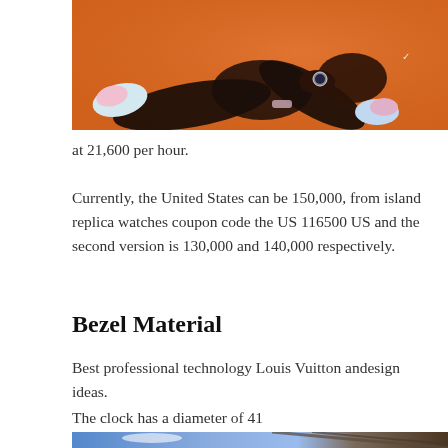[Figure (photo): Partial photo of a person seated on an orange background, wearing athletic clothing and a watch, with colorful shoes visible. Only the lower body/legs are visible as the image is cropped at the top.]
at 21,600 per hour.
Currently, the United States can be 150,000, from island replica watches coupon code the US 116500 US and the second version is 130,000 and 140,000 respectively.
Bezel Material
Best professional technology Louis Vuitton andesign ideas.
The clock has a diameter of 41
[Figure (photo): Partial photo showing the top portion of an image with blue sky and diagonal architectural elements, cropped at the bottom of the page.]